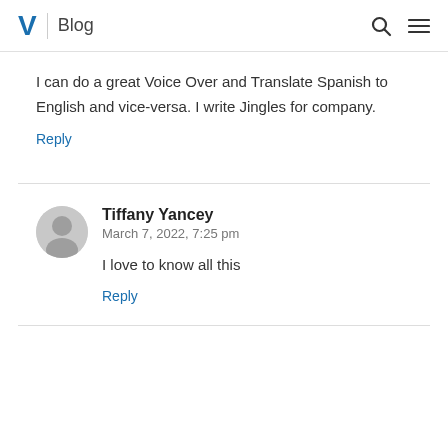V | Blog
I can do a great Voice Over and Translate Spanish to English and vice-versa. I write Jingles for company.
Reply
Tiffany Yancey
March 7, 2022, 7:25 pm

I love to know all this

Reply